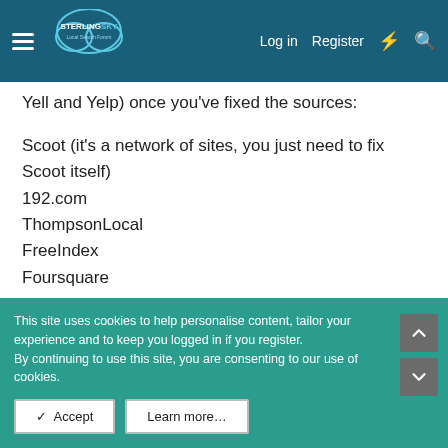Sterling Sky Local Search Forum — Log in | Register
Yell and Yelp) once you've fixed the sources:
Scoot (it's a network of sites, you just need to fix Scoot itself)
192.com
ThompsonLocal
FreeIndex
Foursquare
As well as Google Maps, Apple Maps, and Bing Maps of course.
I hope this helps!
This site uses cookies to help personalise content, tailor your experience and to keep you logged in if you register.
By continuing to use this site, you are consenting to our use of cookies.